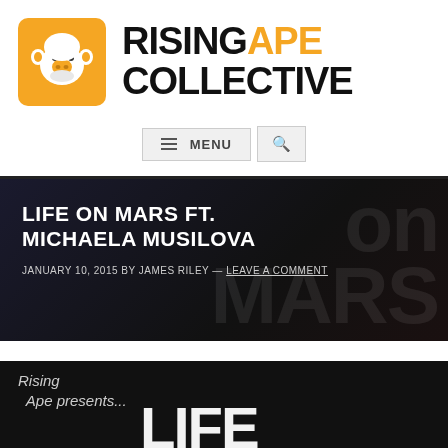[Figure (logo): Rising Ape Collective logo: orange square with white ape/monkey face icon, followed by bold text RISING in black, APE in orange, COLLECTIVE in black]
[Figure (screenshot): Navigation bar with hamburger menu icon, MENU text button, and search (magnifying glass) icon button]
LIFE ON MARS FT. MICHAELA MUSILOVA
JANUARY 10, 2015 BY JAMES RILEY — LEAVE A COMMENT
[Figure (screenshot): Bottom portion of page showing Rising Ape presents... text in italic on dark background with large white LIFE text partially visible]